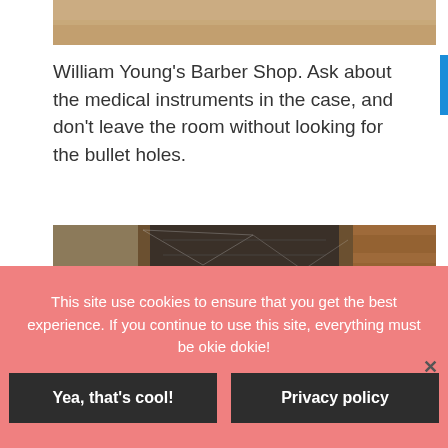[Figure (photo): Top portion of a photo, showing a tan/wood-toned background, cropped at the top of the page.]
William Young’s Barber Shop. Ask about the medical instruments in the case, and don’t leave the room without looking for the bullet holes.
[Figure (photo): Interior photo showing a dark narrow passage or shaft with wooden framing, cobwebs, and stone/brick walls visible on the right side. Appears to be an old underground tunnel or cellar stairway.]
This site use cookies to ensure that you get the best experience. If you continue to use this site, everything must be okie dokie!
Yea, that’s cool!
Privacy policy